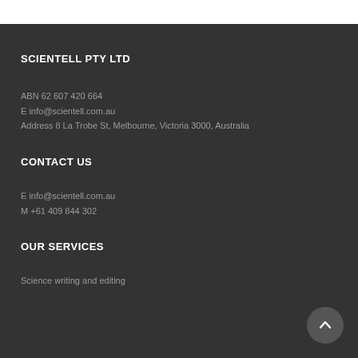SCIENTELL PTY LTD
ABN 62 607 420 664
E info@scientell.com.au
Address 8 La Trobe St, Melbourne, Victoria 3000, Australia
CONTACT US
E info@scientell.com.au
M +61 409 844 302
OUR SERVICES
Science writing and editing